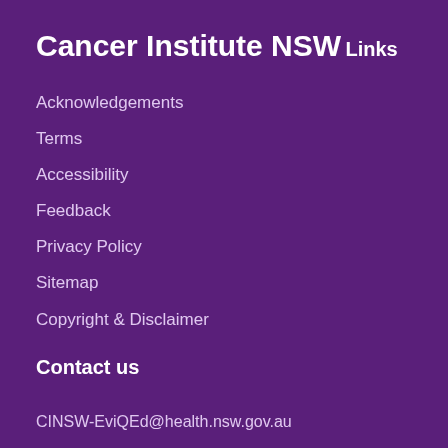Cancer Institute NSW
Links
Acknowledgements
Terms
Accessibility
Feedback
Privacy Policy
Sitemap
Copyright & Disclaimer
Contact us
CINSW-EviQEd@health.nsw.gov.au